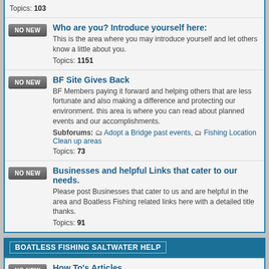Topics: 103
Who are you? Introduce yourself here:
This is the area where you may introduce yourself and let others know a little about you. Topics: 1151
BF Site Gives Back
BF Members paying it forward and helping others that are less fortunate and also making a difference and protecting our environment. this area is where you can read about planned events and our accomplishments. Subforums: Adopt a Bridge past events, Fishing Location Clean up areas Topics: 73
Businesses and helpful Links that cater to our needs.
Please post Businesses that cater to us and are helpful in the area and Boatless Fishing related links here with a detailed title thanks. Topics: 91
BOATLESS FISHING SALTWATER HELP
How To's Articles
Post your How to Storys-Articles here and please only How To's related to Boatless Fishing. Topics: 326